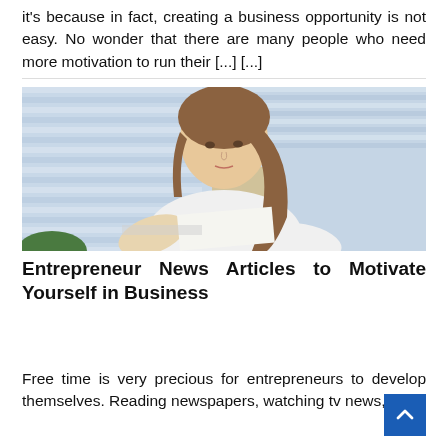it's because in fact, creating a business opportunity is not easy. No wonder that there are many people who need more motivation to run their [...] [...]
[Figure (photo): A young woman with long brown hair wearing a white polo shirt, seated at a desk and looking down at papers or a document, with window blinds in the background.]
Entrepreneur News Articles to Motivate Yourself in Business
Free time is very precious for entrepreneurs to develop themselves. Reading newspapers, watching tv news, or